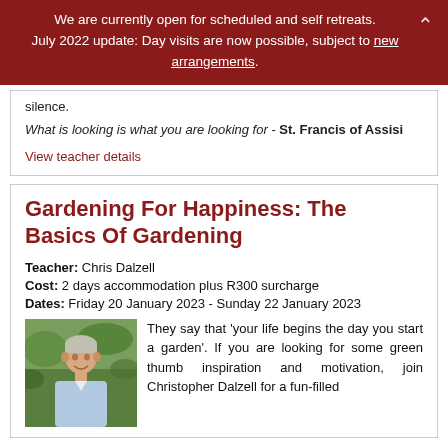We are currently open for scheduled and self retreats. July 2022 update: Day visits are now possible, subject to new arrangements.
silence.
What is looking is what you are looking for - St. Francis of Assisi
View teacher details
Gardening For Happiness: The Basics Of Gardening
Teacher: Chris Dalzell
Cost: 2 days accommodation plus R300 surcharge
Dates: Friday 20 January 2023 - Sunday 22 January 2023
[Figure (photo): Portrait photo of Chris Dalzell, a man outdoors with green trees in background]
They say that 'your life begins the day you start a garden'. If you are looking for some green thumb inspiration and motivation, join Christopher Dalzell for a fun-filled